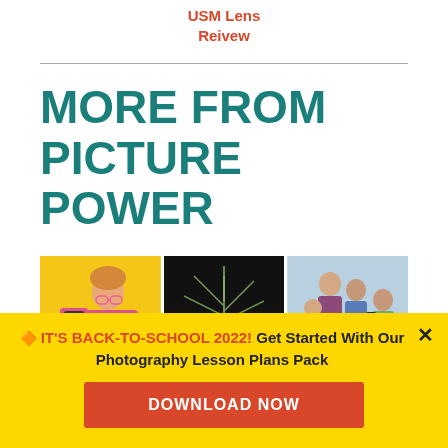USM Lens Reivew
MORE FROM PICTURE POWER
[Figure (photo): Three side-by-side photos: a woman on yellow background taking selfie, a close-up of a spiky plant on black background, and a family taking a selfie on light blue background]
IT'S BACK-TO-SCHOOL 2022! Get Started With Our Photography Lesson Plans Pack
DOWNLOAD NOW